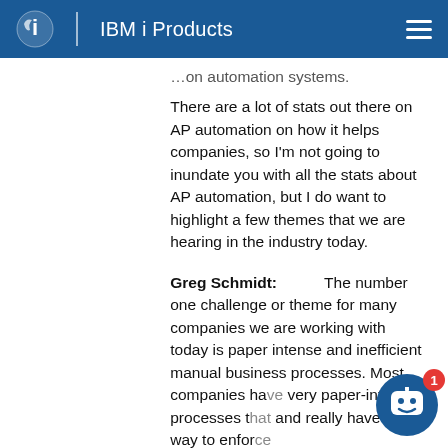IBM i Products
…on automation systems. There are a lot of stats out there on AP automation on how it helps companies, so I'm not going to inundate you with all the stats about AP automation, but I do want to highlight a few themes that we are hearing in the industry today.
Greg Schmidt:          The number one challenge or theme for many companies we are working with today is paper intense and inefficient manual business processes. Most companies have very paper-intense processes that and really have no way to enforce